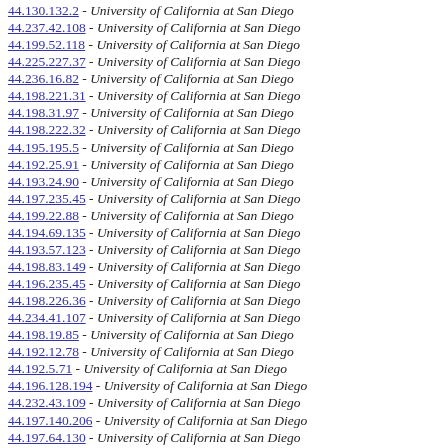44.130.132.2 - University of California at San Diego
44.237.42.108 - University of California at San Diego
44.199.52.118 - University of California at San Diego
44.225.227.37 - University of California at San Diego
44.236.16.82 - University of California at San Diego
44.198.221.31 - University of California at San Diego
44.198.31.97 - University of California at San Diego
44.198.222.32 - University of California at San Diego
44.195.195.5 - University of California at San Diego
44.192.25.91 - University of California at San Diego
44.193.24.90 - University of California at San Diego
44.197.235.45 - University of California at San Diego
44.199.22.88 - University of California at San Diego
44.194.69.135 - University of California at San Diego
44.193.57.123 - University of California at San Diego
44.198.83.149 - University of California at San Diego
44.196.235.45 - University of California at San Diego
44.198.226.36 - University of California at San Diego
44.234.41.107 - University of California at San Diego
44.198.19.85 - University of California at San Diego
44.192.12.78 - University of California at San Diego
44.192.5.71 - University of California at San Diego
44.196.128.194 - University of California at San Diego
44.232.43.109 - University of California at San Diego
44.197.140.206 - University of California at San Diego
44.197.64.130 - University of California at San Diego
44.198.238.48 - University of California at San Diego
44.198.142.208 - University of California at San Diego
44.198.25.91 - University of California at San Diego
44.195.88.154 - University of California at San Diego
44.235.137.202 - University of California at San Diego